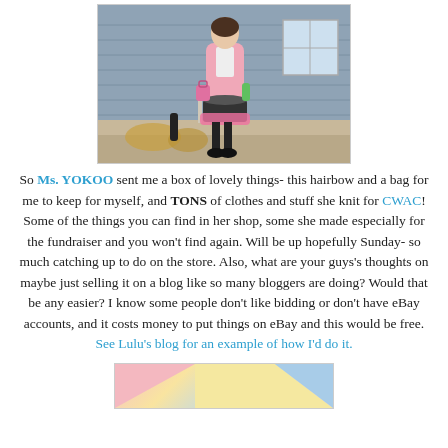[Figure (photo): Person standing outside on porch steps wearing pink cardigan over graphic tee, black and white harlequin skirt, pink petticoat, black tights and shoes, holding a green item. Gray siding house in background.]
So Ms. YOKOO sent me a box of lovely things- this hairbow and a bag for me to keep for myself, and TONS of clothes and stuff she knit for CWAC! Some of the things you can find in her shop, some she made especially for the fundraiser and you won't find again. Will be up hopefully Sunday- so much catching up to do on the store. Also, what are your guys's thoughts on maybe just selling it on a blog like so many bloggers are doing? Would that be any easier? I know some people don't like bidding or don't have eBay accounts, and it costs money to put things on eBay and this would be free. See Lulu's blog for an example of how I'd do it.
[Figure (photo): Partial view of a colorful geometric image with pink, yellow, and blue triangular shapes.]